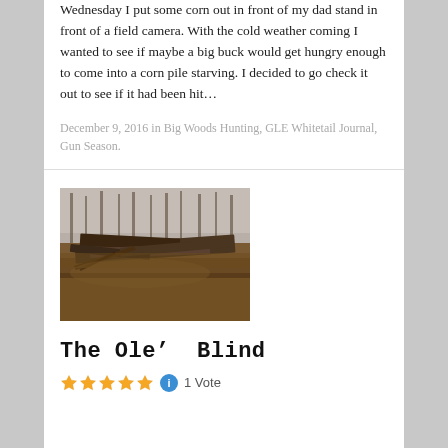Wednesday I put some corn out in front of my dad stand in front of a field camera. With the cold weather coming I wanted to see if maybe a big buck would get hungry enough to come into a corn pile starving. I decided to go check it out to see if it had been hit…
December 9, 2016 in Big Woods Hunting, GLE Whitetail Journal, Gun Season.
[Figure (photo): Outdoor photo of a collapsed or dilapidated wooden hunting blind made of old rotting planks and branches, surrounded by fallen leaves and bare trees in a wooded setting.]
The Ole' Blind
1 Vote